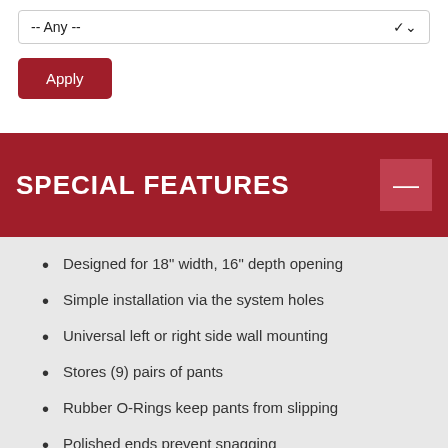-- Any --
Apply
SPECIAL FEATURES
Designed for 18" width, 16" depth opening
Simple installation via the system holes
Universal left or right side wall mounting
Stores (9) pairs of pants
Rubber O-Rings keep pants from slipping
Polished ends prevent snagging
Rev-A-Shelf exclusive design